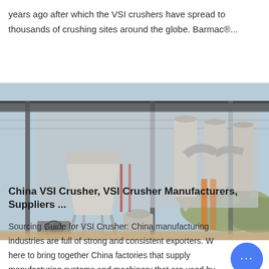years ago after which the VSI crushers have spread to thousands of crushing sites around the globe. Barmac®...
[Figure (photo): Industrial crushing/grinding facility showing large cylindrical silos, hoppers, conveyor systems, and processing equipment inside a metal-roofed structure. Workers visible in background. Outdoor setting with hills in background.]
China VSI Crusher, VSI Crusher Manufacturers, Suppliers ...
Sourcing Guide for VSI Crusher: China manufacturing industries are full of strong and consistent exporters. We here to bring together China factories that supply manufacturing systems and machinery that are used by